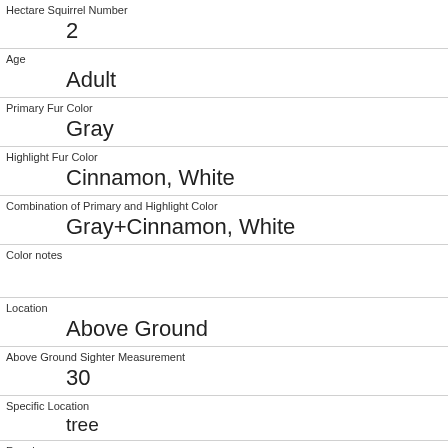| Hectare Squirrel Number | 2 |
| Age | Adult |
| Primary Fur Color | Gray |
| Highlight Fur Color | Cinnamon, White |
| Combination of Primary and Highlight Color | Gray+Cinnamon, White |
| Color notes |  |
| Location | Above Ground |
| Above Ground Sighter Measurement | 30 |
| Specific Location | tree |
| Running | 0 |
| Chasing |  |